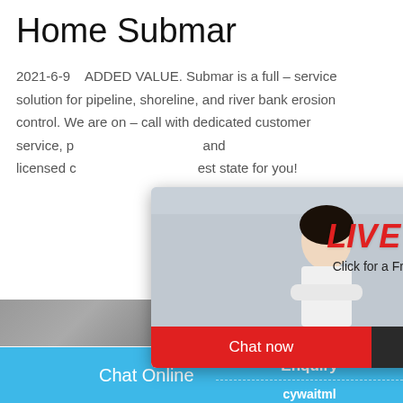Home Submar
2021-6-9   ADDED VALUE. Submar is a full – service solution for pipeline, shoreline, and river bank erosion control. We are on – call with dedicated customer service, pu... full... and licensed c...est state for you!
[Figure (screenshot): Live chat popup overlay showing workers in yellow hard hats, LIVE CHAT title in red italic, 'Click for a Free Consultation' subtitle, Chat now (red) and Chat later (dark) buttons, and a close button]
[Figure (screenshot): Right side chat widget on cyan/blue background showing emoji gauge/satisfaction meter, 'Click me to chat >>' button, Enquiry label, and cywaitml@gmail.com email]
[Figure (photo): Bottom photo strip showing industrial/construction structure on left and green leaves/nature on right]
Chat Online    cywaitml@gmail.com